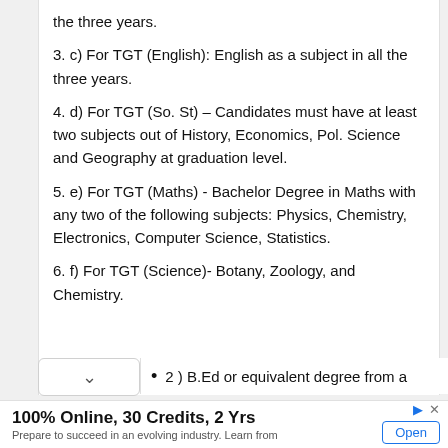the three years.
3. c) For TGT (English): English as a subject in all the three years.
4. d) For TGT (So. St) – Candidates must have at least two subjects out of History, Economics, Pol. Science and Geography at graduation level.
5. e) For TGT (Maths) - Bachelor Degree in Maths with any two of the following subjects: Physics, Chemistry, Electronics, Computer Science, Statistics.
6. f) For TGT (Science)- Botany, Zoology, and Chemistry.
2 ) B.Ed or equivalent degree from a
100% Online, 30 Credits, 2 Yrs
Prepare to succeed in an evolving industry. Learn from